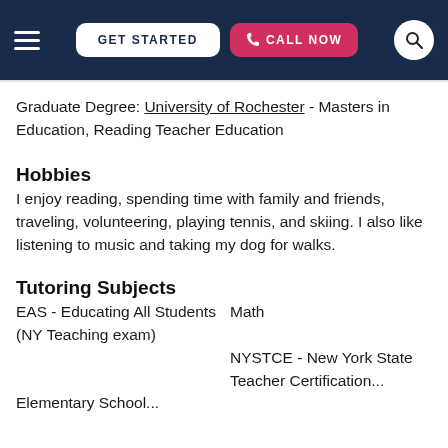GET STARTED | CALL NOW | [search]
Graduate Degree: University of Rochester - Masters in Education, Reading Teacher Education
Hobbies
I enjoy reading, spending time with family and friends, traveling, volunteering, playing tennis, and skiing. I also like listening to music and taking my dog for walks.
Tutoring Subjects
EAS - Educating All Students (NY Teaching exam)
Math
Elementary School...
NYSTCE - New York State Teacher Certification...